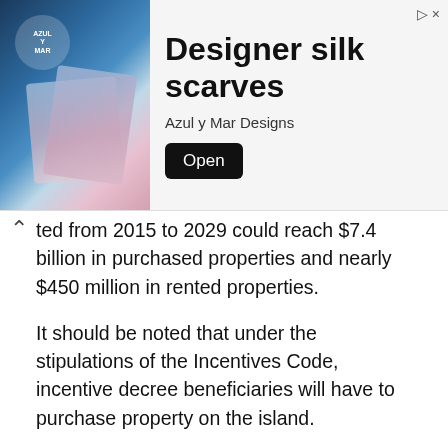[Figure (other): Advertisement banner for Designer silk scarves by Azul y Mar Designs with an Open button]
ted from 2015 to 2029 could reach $7.4 billion in purchased properties and nearly $450 million in rented properties.
It should be noted that under the stipulations of the Incentives Code, incentive decree beneficiaries will have to purchase property on the island.
Laboy said that after going over the results of the study, the DDEC has identified several areas of “opportunity to maximize the performance” of both laws.
“The public policy of the administration of Gov. Wanda Vázquez is to continue to evaluate all the initiatives and laws we implement,” Laboy said. “Like everything else,